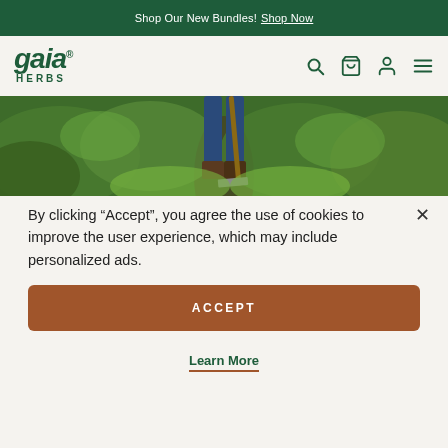Shop Our New Bundles! Shop Now
[Figure (logo): Gaia Herbs logo with italic 'gaia' text and 'HERBS' subtitle in dark green]
[Figure (photo): A person walking through a lush green herb farm/field, carrying a garden tool, viewed from the legs down]
By clicking “Accept”, you agree the use of cookies to improve the user experience, which may include personalized ads.
ACCEPT
Learn More